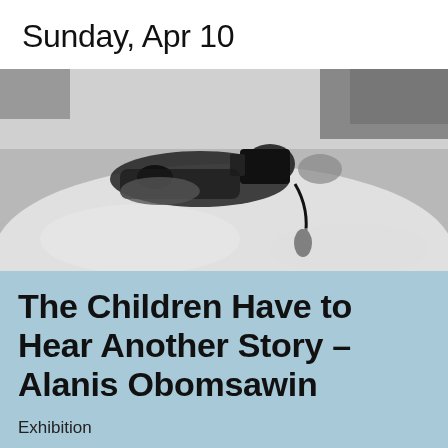Sunday, Apr 10
[Figure (photo): Black and white photograph of a person lying on a large rock, operating a camera with a microphone attached via cable, with vegetation in the background.]
The Children Have to Hear Another Story – Alanis Obomsawin
Exhibition
7€/5€